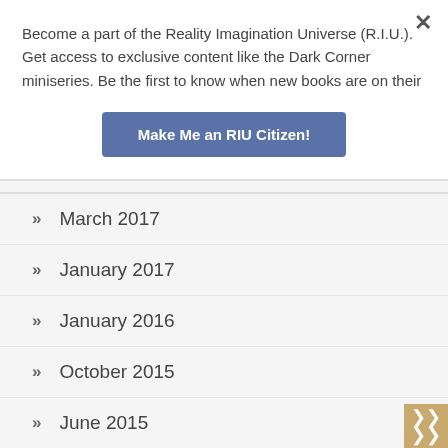Become a part of the Reality Imagination Universe (R.I.U.). Get access to exclusive content like the Dark Corner miniseries. Be the first to know when new books are on their
Make Me an RIU Citizen!
March 2017
January 2017
January 2016
October 2015
June 2015
May 2015